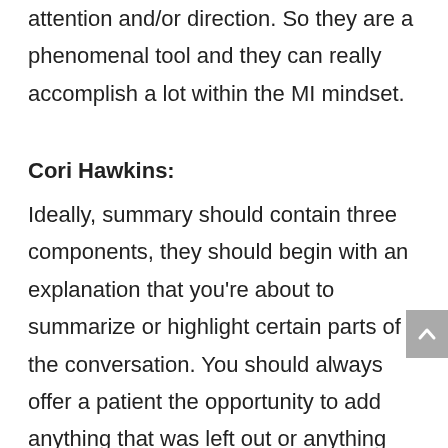attention and/or direction. So they are a phenomenal tool and they can really accomplish a lot within the MI mindset.
Cori Hawkins:
Ideally, summary should contain three components, they should begin with an explanation that you're about to summarize or highlight certain parts of the conversation. You should always offer a patient the opportunity to add anything that was left out or anything you forgot. And then usually they conclude with an open-ended question. So, what I thought would be helpful is just to walk